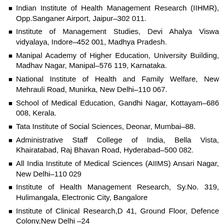Indian Institute of Health Management Research (IIHMR), Opp.Sanganer Airport, Jaipur–302 011.
Institute of Management Studies, Devi Ahalya Viswa vidyalaya, Indore–452 001, Madhya Pradesh.
Manipal Academy of Higher Education, University Building, Madhav Nagar, Manipal–576 119, Karnataka.
National Institute of Health and Family Welfare, New Mehrauli Road, Munirka, New Delhi–110 067.
School of Medical Education, Gandhi Nagar, Kottayam–686 008, Kerala.
Tata Institute of Social Sciences, Deonar, Mumbai–88.
Administrative Staff College of India, Bella Vista, Khairatabad, Raj Bhavan Road, Hyderabad–500 082.
All India Institute of Medical Sciences (AIIMS) Ansari Nagar, New Delhi–110 029
Institute of Health Management Research, Sy.No. 319, Hulimangala, Electronic City, Bangalore
Institute of Clinical Research,D 41, Ground Floor, Defence Colony,New Delhi –24